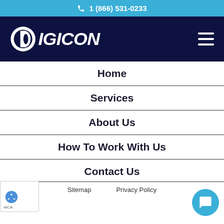1 (866) 531-0233
[Figure (logo): Digicon logo — white circular D icon with DIGICON text on dark navy background header]
Home
Services
About Us
How To Work With Us
Contact Us
Sitemap   Privacy Policy